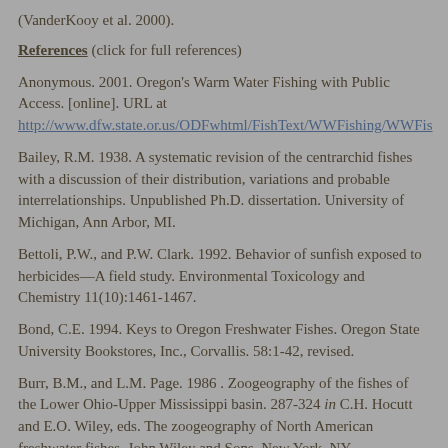(VanderKooy et al. 2000).
References (click for full references)
Anonymous. 2001. Oregon's Warm Water Fishing with Public Access. [online]. URL at http://www.dfw.state.or.us/ODFwhtml/FishText/WWFishing/WWFis
Bailey, R.M. 1938. A systematic revision of the centrarchid fishes with a discussion of their distribution, variations and probable interrelationships. Unpublished Ph.D. dissertation. University of Michigan, Ann Arbor, MI.
Bettoli, P.W., and P.W. Clark. 1992. Behavior of sunfish exposed to herbicides—A field study. Environmental Toxicology and Chemistry 11(10):1461-1467.
Bond, C.E. 1994. Keys to Oregon Freshwater Fishes. Oregon State University Bookstores, Inc., Corvallis. 58:1-42, revised.
Burr, B.M., and L.M. Page. 1986 . Zoogeography of the fishes of the Lower Ohio-Upper Mississippi basin. 287-324 in C.H. Hocutt and E.O. Wiley, eds. The zoogeography of North American freshwater fishes. John Wiley and Sons, New York, NY.